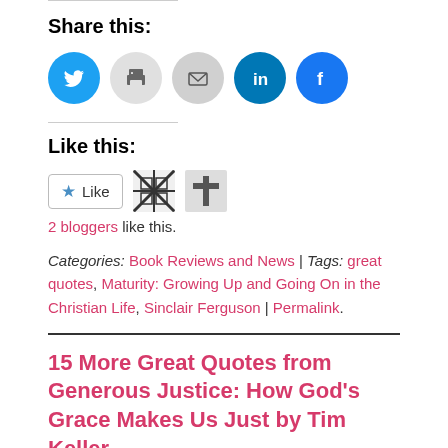Share this:
[Figure (infographic): Social share icons: Twitter (blue), Print (gray), Email (gray), LinkedIn (blue), Facebook (blue)]
Like this:
[Figure (infographic): Like button with star icon and two blogger avatars]
2 bloggers like this.
Categories: Book Reviews and News | Tags: great quotes, Maturity: Growing Up and Going On in the Christian Life, Sinclair Ferguson | Permalink.
15 More Great Quotes from Generous Justice: How God's Grace Makes Us Just by Tim Keller